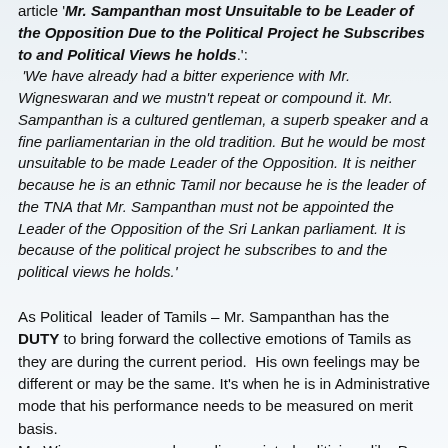article 'Mr. Sampanthan most Unsuitable to be Leader of the Opposition Due to the Political Project he Subscribes to and Political Views he holds.':
'We have already had a bitter experience with Mr. Wigneswaran and we mustn't repeat or compound it. Mr. Sampanthan is a cultured gentleman, a superb speaker and a fine parliamentarian in the old tradition. But he would be most unsuitable to be made Leader of the Opposition. It is neither because he is an ethnic Tamil nor because he is the leader of the TNA that Mr. Sampanthan must not be appointed the Leader of the Opposition of the Sri Lankan parliament. It is because of the political project he subscribes to and the political views he holds.'
As Political leader of Tamils – Mr. Sampanthan has the DUTY to bring forward the collective emotions of Tamils as they are during the current period. His own feelings may be different or may be the same. It's when he is in Administrative mode that his performance needs to be measured on merit basis.
Mr. Wigneswaran may have disappointed politicians like Dr. Dayan Jayatilleka. But as Chief Minister of Northern